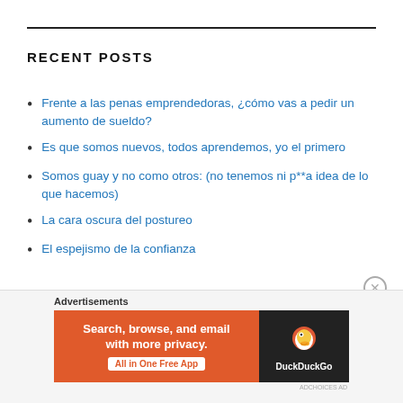RECENT POSTS
Frente a las penas emprendedoras, ¿cómo vas a pedir un aumento de sueldo?
Es que somos nuevos, todos aprendemos, yo el primero
Somos guay y no como otros: (no tenemos ni p**a idea de lo que hacemos)
La cara oscura del postureo
El espejismo de la confianza
[Figure (infographic): DuckDuckGo advertisement banner: orange background with text 'Search, browse, and email with more privacy. All in One Free App' and DuckDuckGo logo on dark background on the right.]